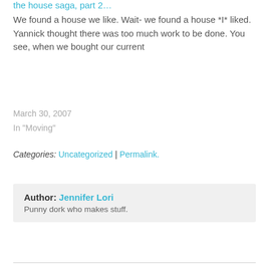the house saga, part 2…
We found a house we like. Wait- we found a house *I* liked. Yannick thought there was too much work to be done. You see, when we bought our current
March 30, 2007
In "Moving"
Categories: Uncategorized | Permalink.
Author: Jennifer Lori
Punny dork who makes stuff.